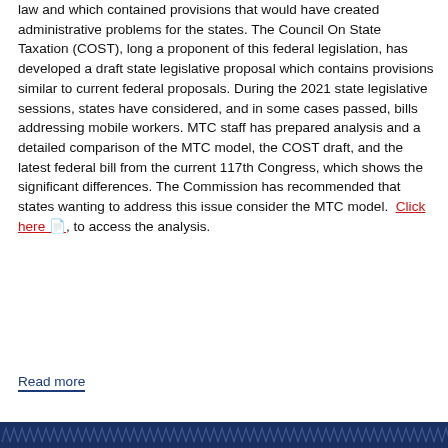law and which contained provisions that would have created administrative problems for the states. The Council On State Taxation (COST), long a proponent of this federal legislation, has developed a draft state legislative proposal which contains provisions similar to current federal proposals. During the 2021 state legislative sessions, states have considered, and in some cases passed, bills addressing mobile workers. MTC staff has prepared analysis and a detailed comparison of the MTC model, the COST draft, and the latest federal bill from the current 117th Congress, which shows the significant differences. The Commission has recommended that states wanting to address this issue consider the MTC model.  Click here, to access the analysis.
Read more